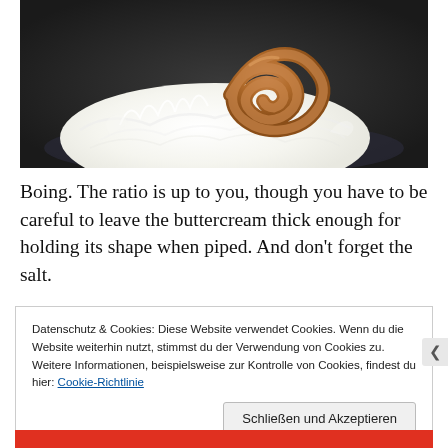[Figure (photo): Close-up photo of a scoop of white whipped cream or ice cream with a swirl of caramel-colored buttercream on top, on a dark background.]
Boing. The ratio is up to you, though you have to be careful to leave the buttercream thick enough for holding its shape when piped. And don't forget the salt.
Datenschutz & Cookies: Diese Website verwendet Cookies. Wenn du die Website weiterhin nutzt, stimmst du der Verwendung von Cookies zu. Weitere Informationen, beispielsweise zur Kontrolle von Cookies, findest du hier: Cookie-Richtlinie
Schließen und Akzeptieren